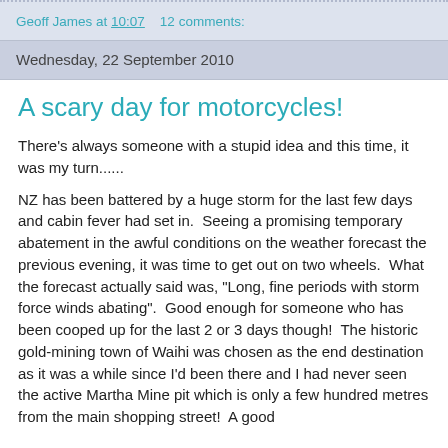Geoff James at 10:07    12 comments:
Wednesday, 22 September 2010
A scary day for motorcycles!
There's always someone with a stupid idea and this time, it was my turn......
NZ has been battered by a huge storm for the last few days and cabin fever had set in.  Seeing a promising temporary abatement in the awful conditions on the weather forecast the previous evening, it was time to get out on two wheels.  What the forecast actually said was, "Long, fine periods with storm force winds abating".  Good enough for someone who has been cooped up for the last 2 or 3 days though!  The historic gold-mining town of Waihi was chosen as the end destination as it was a while since I'd been there and I had never seen the active Martha Mine pit which is only a few hundred metres from the main shopping street!  A good